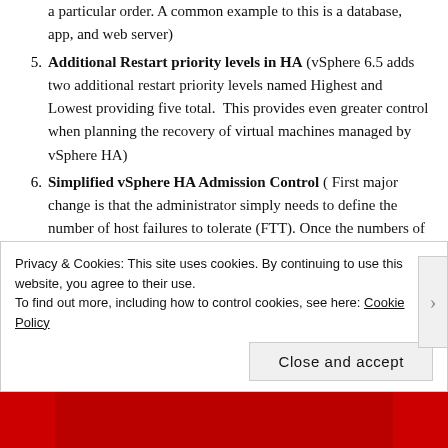a particular order. A common example to this is a database, app, and web server)
Additional Restart priority levels in HA (vSphere 6.5 adds two additional restart priority levels named Highest and Lowest providing five total. This provides even greater control when planning the recovery of virtual machines managed by vSphere HA)
Simplified vSphere HA Admission Control ( First major change is that the administrator simply needs to define the number of host failures to tolerate (FTT). Once the numbers of hosts are configured
Privacy & Cookies: This site uses cookies. By continuing to use this website, you agree to their use. To find out more, including how to control cookies, see here: Cookie Policy